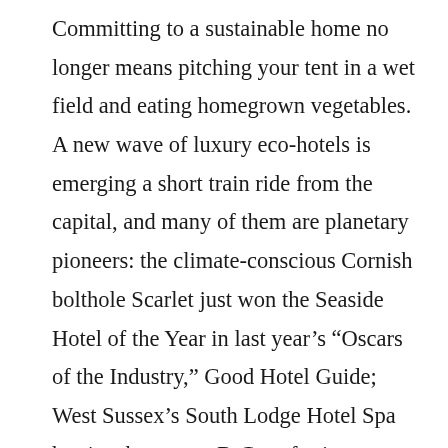Committing to a sustainable home no longer means pitching your tent in a wet field and eating homegrown vegetables. A new wave of luxury eco-hotels is emerging a short train ride from the capital, and many of them are planetary pioneers: the climate-conscious Cornish bolthole Scarlet just won the Seaside Hotel of the Year in last year's “Oscars of the Industry,” Good Hotel Guide; West Sussex’s South Lodge Hotel Spa has just become a B-Corp for its commitment to responsible tourism; and Hampshire’s Heckfield Place were awarded a Michelin Green Star in February for their locally sourced menu. Top eco-chef Skye Gyngell from Spring at Somerset House recently joined as culinary director.